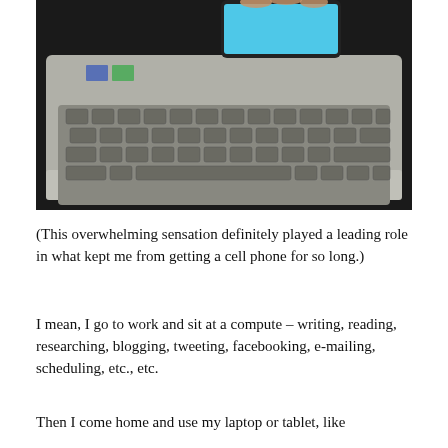[Figure (photo): Overhead photo of a laptop keyboard with a smartphone/tablet being held above it, showing a blue screen. The laptop is silver/gray and the background is dark.]
(This overwhelming sensation definitely played a leading role in what kept me from getting a cell phone for so long.)
I mean, I go to work and sit at a compute – writing, reading, researching, blogging, tweeting, facebooking, e-mailing, scheduling, etc., etc.
Then I come home and use my laptop or tablet, like